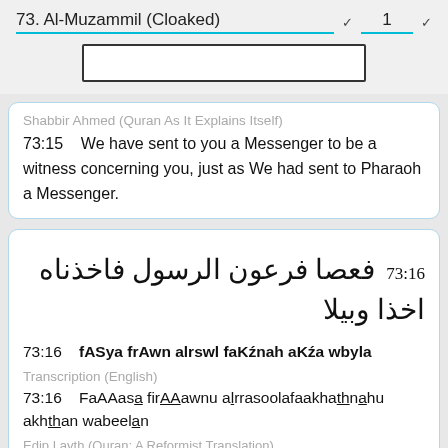73. Al-Muzammil (Cloaked)  1
Shabbir Ahmed (Quran As It Explains Itself)
73:15    We have sent to you a Messenger to be a witness concerning you, just as We had sent to Pharaoh a Messenger.
73:16  فعصا فرعون الرسول فاخذناه اخذا وبيلا
73:16    fASya frAwn alrswl faKźnah aKźa wbyla
Transcription (English)
73:16    FaAAasa firAAawnu alrrasoolafaakhathnahu akhthan wabeelan
Edip Layth (Quran: A Reformist Translation)